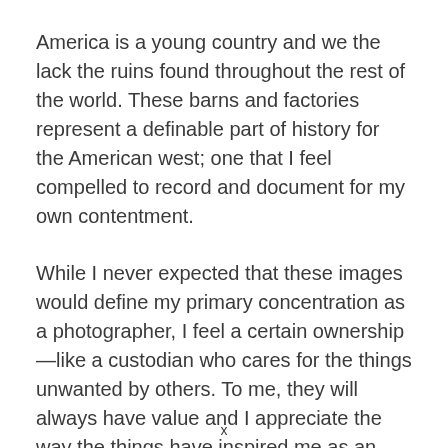America is a young country and we the lack the ruins found throughout the rest of the world. These barns and factories represent a definable part of history for the American west; one that I feel compelled to record and document for my own contentment.
While I never expected that these images would define my primary concentration as a photographer, I feel a certain ownership—like a custodian who cares for the things unwanted by others. To me, they will always have value and I appreciate the way the things have inspired me as an artist and
x